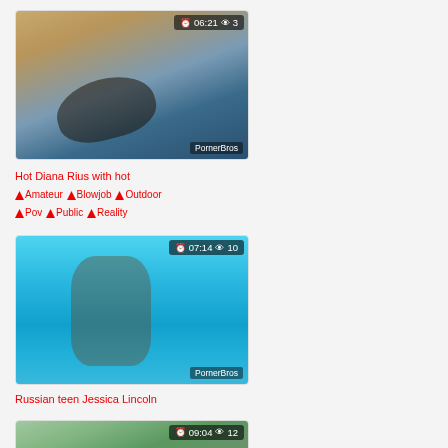[Figure (screenshot): Video thumbnail showing woman by pool, duration 06:21, views 3, watermark PornerBros]
Hot Diana Rius with hot
Amateur  Blowjob  Outdoor  Pov  Public  Reality
[Figure (screenshot): Video thumbnail showing underwater pool scene, duration 07:14, views 10, watermark PornerBros]
Russian teen Jessica Lincoln
[Figure (screenshot): Video thumbnail partially visible, duration 09:04, views 12]